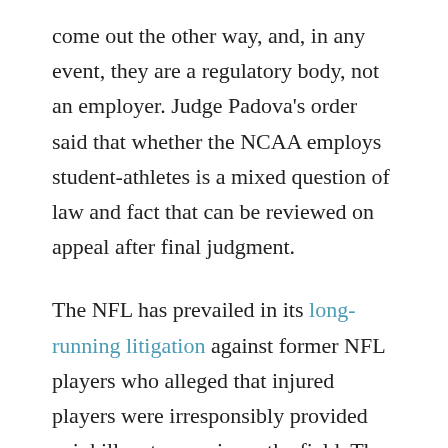come out the other way, and, in any event, they are a regulatory body, not an employer. Judge Padova's order said that whether the NCAA employs student-athletes is a mixed question of law and fact that can be reviewed on appeal after final judgment.
The NFL has prevailed in its long-running litigation against former NFL players who alleged that injured players were irresponsibly provided painkillers to remain on the field. The court did not reach the question whether the Labor Management Relations Act preempted the players' claims.